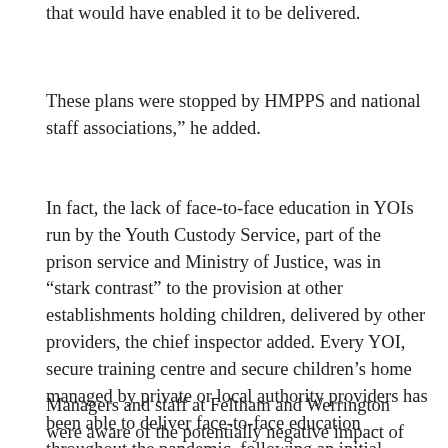that would have enabled it to be delivered.
These plans were stopped by HMPPS and national staff associations,” he added.
In fact, the lack of face-to-face education in YOIs run by the Youth Custody Service, part of the prison service and Ministry of Justice, was in “stark contrast” to the provision at other establishments holding children, delivered by other providers, the chief inspector added. Every YOI, secure training centre and secure children’s home managed by private or local authority providers has been able to deliver face-to-face education throughout the pandemic, following an initial suspension to put health and safety measures in place.
Managers and staff at Feltham and Werrington were aware of the potentially negative impact of children spending so much